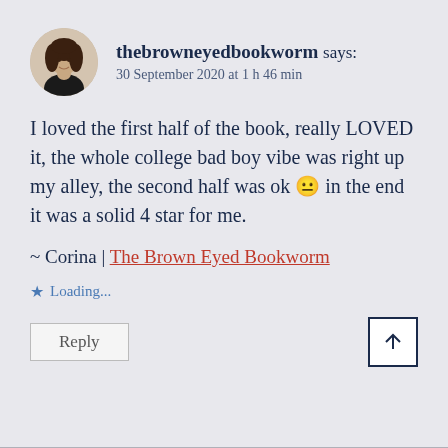[Figure (illustration): Avatar image of a woman with curly dark hair wearing a black top, circular crop]
thebrowneyedbookworm says:
30 September 2020 at 1 h 46 min
I loved the first half of the book, really LOVED it, the whole college bad boy vibe was right up my alley, the second half was ok 😐 in the end it was a solid 4 star for me.
~ Corina | The Brown Eyed Bookworm
Loading...